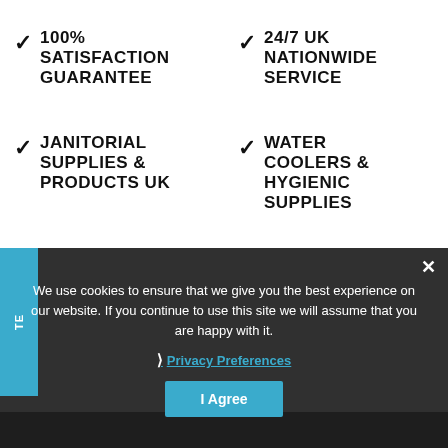✓ 100% SATISFACTION GUARANTEE
✓ 24/7 UK NATIONWIDE SERVICE
✓ JANITORIAL SUPPLIES & PRODUCTS UK
✓ WATER COOLERS & HYGIENIC SUPPLIES
We use cookies to ensure that we give you the best experience on our website. If you continue to use this site we will assume that you are happy with it.
❯ Privacy Preferences
I Agree